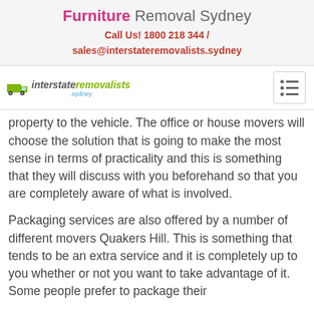Furniture Removal Sydney
Call Us! 1800 218 344 / sales@interstateremovalists.sydney
[Figure (logo): Interstate Removalists Sydney logo with truck icon and hamburger menu button]
property to the vehicle. The office or house movers will choose the solution that is going to make the most sense in terms of practicality and this is something that they will discuss with you beforehand so that you are completely aware of what is involved.
Packaging services are also offered by a number of different movers Quakers Hill. This is something that tends to be an extra service and it is completely up to you whether or not you want to take advantage of it. Some people prefer to package their